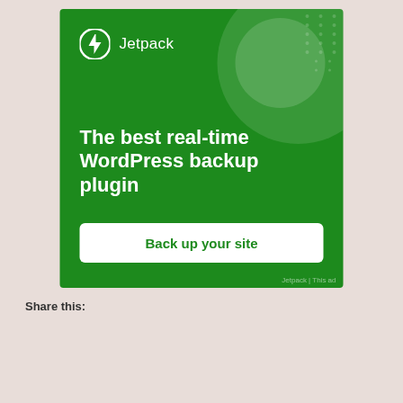[Figure (screenshot): Jetpack advertisement banner with green background. Shows Jetpack logo (lightning bolt icon) and text 'The best real-time WordPress backup plugin' with a 'Back up your site' white call-to-action button. Decorative circles and dot pattern in background.]
Share this:
Privacy & Cookies: This site uses cookies. By continuing to use this website, you agree to their use.
To find out more, including how to control cookies, see here:
Cookie Policy
Close and accept